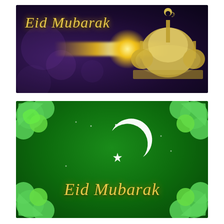[Figure (illustration): Eid Mubarak greeting card with dark purple bokeh background, golden glowing light beam, silhouette of mosque with domes and crescent on top, and golden italic 'Eid Mubarak' text in top left.]
[Figure (illustration): Eid Mubarak greeting card with green background featuring decorative bright green floral/scroll ornaments in all four corners, white crescent moon and star in center, and golden italic 'Eid Mubarak' text at bottom center.]